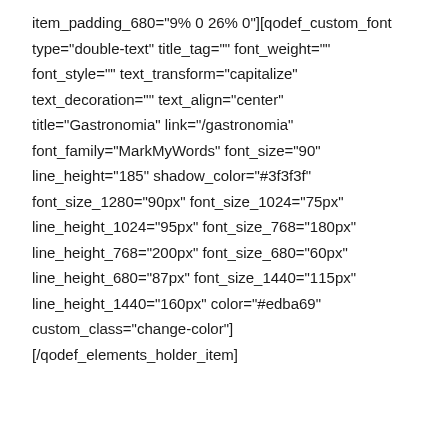item_padding_680="9% 0 26% 0"][qodef_custom_font type="double-text" title_tag="" font_weight="" font_style="" text_transform="capitalize" text_decoration="" text_align="center" title="Gastronomia" link="/gastronomia" font_family="MarkMyWords" font_size="90" line_height="185" shadow_color="#3f3f3f" font_size_1280="90px" font_size_1024="75px" line_height_1024="95px" font_size_768="180px" line_height_768="200px" font_size_680="60px" line_height_680="87px" font_size_1440="115px" line_height_1440="160px" color="#edba69" custom_class="change-color"] [/qodef_elements_holder_item]